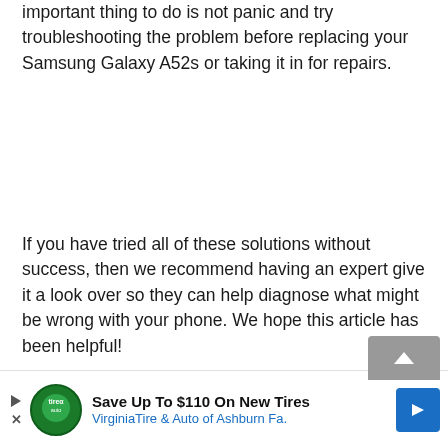important thing to do is not panic and try troubleshooting the problem before replacing your Samsung Galaxy A52s or taking it in for repairs.
If you have tried all of these solutions without success, then we recommend having an expert give it a look over so they can help diagnose what might be wrong with your phone. We hope this article has been helpful!
[Figure (other): Advertisement banner: Save Up To $110 On New Tires - VirginiaTire & Auto of Ashburn Fa. with logo and blue arrow icon]